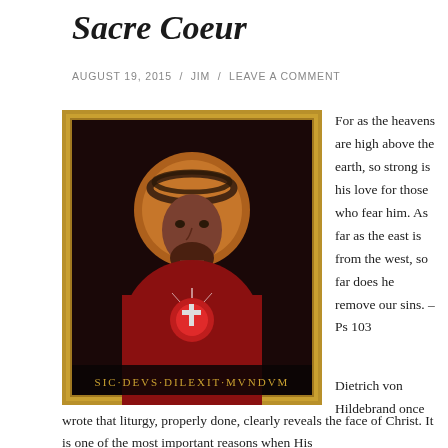Sacre Coeur
AUGUST 19, 2015 / JIM / LEAVE A COMMENT
[Figure (illustration): Religious painting of Jesus Christ with crown of thorns, sacred heart with cross on chest, wearing red robe, with golden halo, in ornate gold frame. Latin inscription at bottom: SIC·DEVS·DILEXIT·MVNDVM]
For as the heavens are high above the earth, so strong is his love for those who fear him. As far as the east is from the west, so far does he remove our sins. – Ps 103

Dietrich von Hildebrand once wrote that liturgy, properly done, clearly reveals the face of Christ. It is one of the most important reasons when His
wrote that liturgy, properly done, clearly reveals the face of Christ. It is one of the most important reasons when His